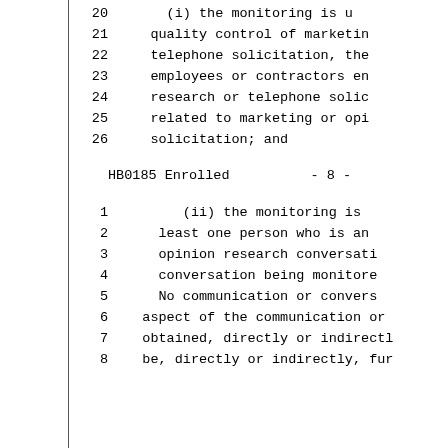20    (i) the monitoring is u
21    quality control of marketin
22    telephone solicitation, the
23    employees or contractors en
24    research or telephone solic
25    related to marketing or opi
26    solicitation; and
HB0185 Enrolled          - 8 -
1       (ii) the monitoring is
2     least one person who is an
3     opinion research conversati
4     conversation being monitore
5     No communication or convers
6  aspect of the communication or
7  obtained, directly or indirectl
8  be, directly or indirectly, fur